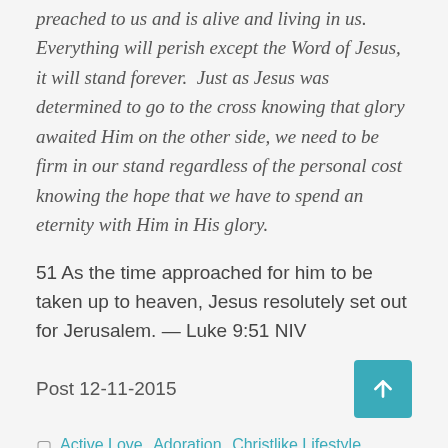preached to us and is alive and living in us.  Everything will perish except the Word of Jesus, it will stand forever.  Just as Jesus was determined to go to the cross knowing that glory awaited Him on the other side, we need to be firm in our stand regardless of the personal cost knowing the hope that we have to spend an eternity with Him in His glory.
51 As the time approached for him to be taken up to heaven, Jesus resolutely set out for Jerusalem. — Luke 9:51 NIV
Post 12-11-2015
Active Love, Adoration, Christlike Lifestyle, faithfulness, Uncategorized
decrease, endures, imperishable,